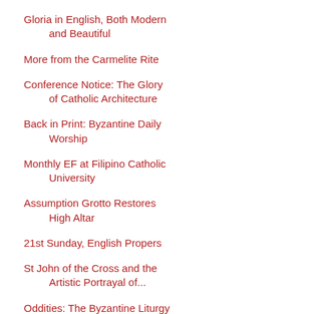Gloria in English, Both Modern and Beautiful
More from the Carmelite Rite
Conference Notice: The Glory of Catholic Architecture
Back in Print: Byzantine Daily Worship
Monthly EF at Filipino Catholic University
Assumption Grotto Restores High Altar
21st Sunday, English Propers
St John of the Cross and the Artistic Portrayal of...
Oddities: The Byzantine Liturgy of St. John Chryso...
Blessing of Honey at a Russian Monastery